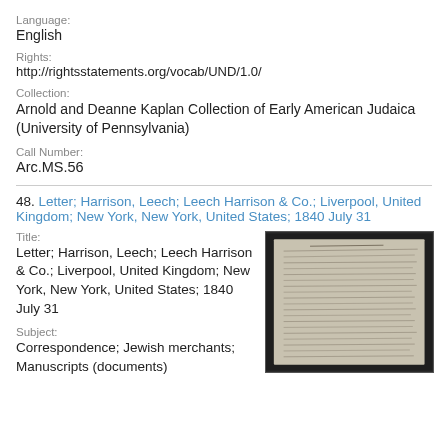Language:
English
Rights:
http://rightsstatements.org/vocab/UND/1.0/
Collection:
Arnold and Deanne Kaplan Collection of Early American Judaica (University of Pennsylvania)
Call Number:
Arc.MS.56
48. Letter; Harrison, Leech; Leech Harrison & Co.; Liverpool, United Kingdom; New York, New York, United States; 1840 July 31
Title:
Letter; Harrison, Leech; Leech Harrison & Co.; Liverpool, United Kingdom; New York, New York, United States; 1840 July 31
Subject:
Correspondence; Jewish merchants; Manuscripts (documents)
[Figure (photo): Thumbnail image of a handwritten manuscript letter, shown on dark background]